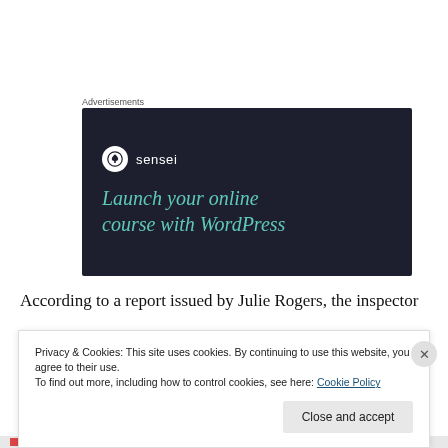Advertisements
[Figure (illustration): Dark navy advertisement banner for 'sensei' plugin showing logo with tree icon and text 'Launch your online course with WordPress' in teal italic serif font]
According to a report issued by Julie Rogers, the inspector
Privacy & Cookies: This site uses cookies. By continuing to use this website, you agree to their use.
To find out more, including how to control cookies, see here: Cookie Policy
Close and accept